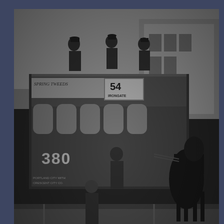[Figure (photo): Black and white historical photograph of Horsecar No. 380 with crew, taken in 1888. The tram shows the number 54 and destination IRONGATE on its board. Several crew members are visible, including on top deck. A horse is visible on the right side. Signs on the tram include advertising for SPRING TWEEDS and text referencing PORTLAND CITY WITH CRESCENT CITY CO. A building in the background shows PROVISIONS.]
A rather decrepit Horsecar No 380, with crew, taken in 1888. Photo courtesy of the Railway Society, with thanks to David Voice.
[Figure (photo): Partial black and white historical photograph showing tram signage reading ISLEY ROAD, cropped view of the top of a tram car.]